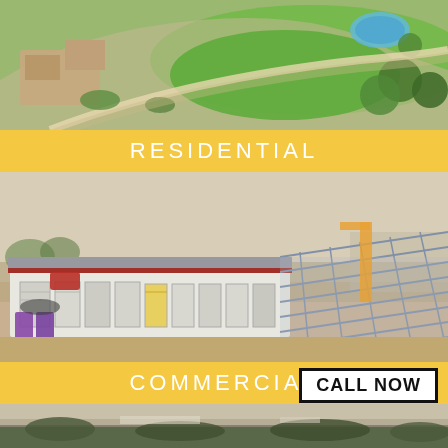[Figure (photo): Aerial view of a residential property with green lawn, swimming pool, trees, and desert landscaping]
RESIDENTIAL
[Figure (photo): Aerial view of a commercial storage facility under construction with steel framework and storage units in desert setting]
COMMERCIAL
CALL NOW